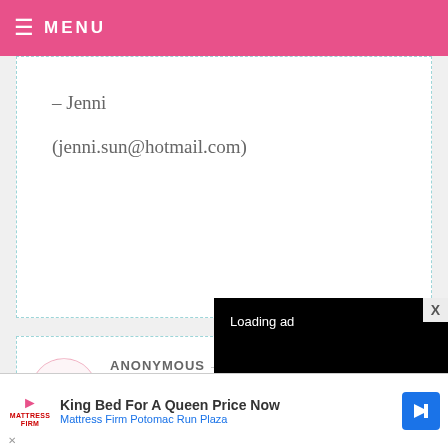MENU
– Jenni
(jenni.sun@hotmail.com)
ANONYMOUS — FEBRUARY 8, 2009 @ 3:19 PM
REPLY
I love the... would SO... baking! :)
Awesome contest!
Rachel
[Figure (screenshot): Video ad overlay showing 'Loading ad' with loading spinner and playback controls (pause, expand, mute) on black background]
[Figure (screenshot): Bottom banner advertisement: King Bed For A Queen Price Now – Mattress Firm Potomac Run Plaza, with Mattress Firm logo and blue arrow icon]